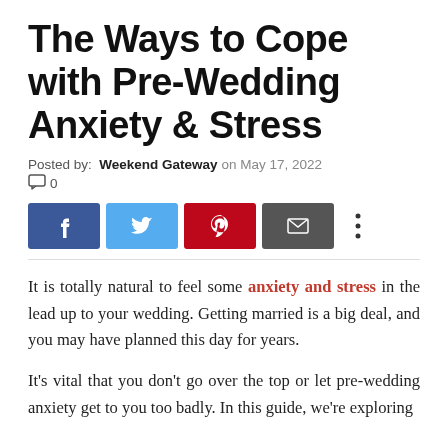The Ways to Cope with Pre-Wedding Anxiety & Stress
Posted by:  Weekend Gateway  on May 17, 2022
□ 0
[Figure (infographic): Social share buttons: Facebook (blue), Twitter (light blue), Pinterest (red), Email (dark gray), and a more (three dots) button]
It is totally natural to feel some anxiety and stress in the lead up to your wedding. Getting married is a big deal, and you may have planned this day for years.
It's vital that you don't go over the top or let pre-wedding anxiety get to you too badly. In this guide, we're exploring